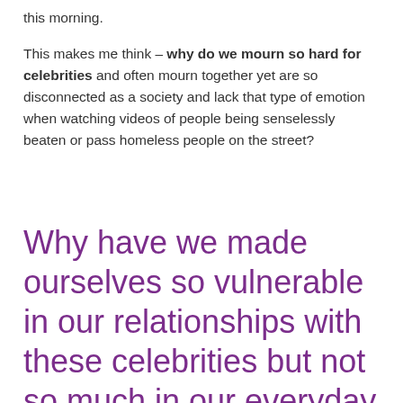this morning.
This makes me think – why do we mourn so hard for celebrities and often mourn together yet are so disconnected as a society and lack that type of emotion when watching videos of people being senselessly beaten or pass homeless people on the street?
Why have we made ourselves so vulnerable in our relationships with these celebrities but not so much in our everyday